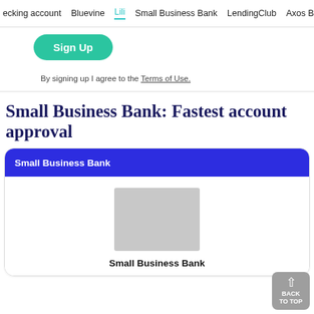ecking account   Bluevine   Lili   Small Business Bank   LendingClub   Axos B
[Figure (other): Green rounded 'Sign Up' button]
By signing up I agree to the Terms of Use.
Small Business Bank: Fastest account approval
Small Business Bank
[Figure (photo): Small Business Bank logo placeholder image (gray rectangle)]
Small Business Bank